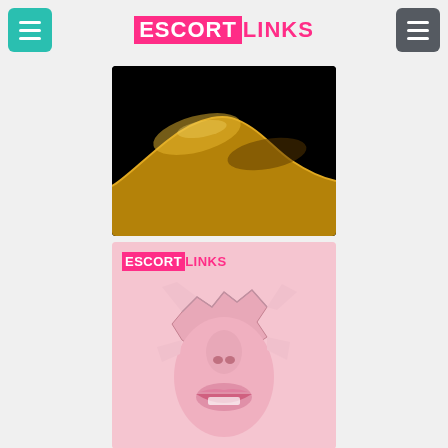ESCORT LINKS - navigation header with logo and menu buttons
[Figure (photo): Abstract artistic photo of a golden/yellow curved body silhouette against a black background]
[Figure (photo): Pink-themed promotional image showing a woman's face peeking through torn pink paper, with ESCORTLINKS logo at top]